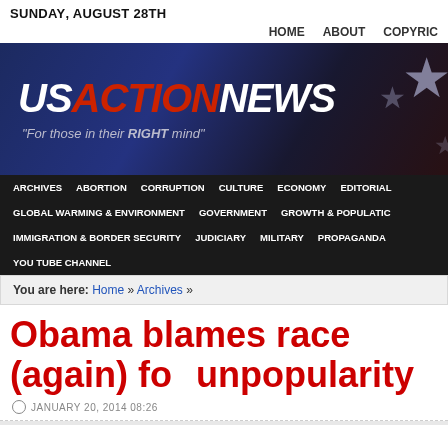SUNDAY, AUGUST 28TH
HOME   ABOUT   COPYRIGHT
[Figure (logo): US ACTION NEWS banner logo with American flag background. Text reads USACTIONNEWS with tagline 'For those in their RIGHT mind']
ARCHIVES  ABORTION  CORRUPTION  CULTURE  ECONOMY  EDITORIAL  GLOBAL WARMING & ENVIRONMENT  GOVERNMENT  GROWTH & POPULATION  IMMIGRATION & BORDER SECURITY  JUDICIARY  MILITARY  PROPAGANDA  YOU TUBE CHANNEL
You are here: Home » Archives »
Obama blames race (again) for unpopularity
JANUARY 20, 2014 08:26